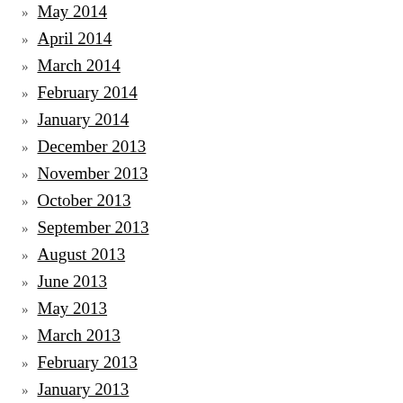May 2014
April 2014
March 2014
February 2014
January 2014
December 2013
November 2013
October 2013
September 2013
August 2013
June 2013
May 2013
March 2013
February 2013
January 2013